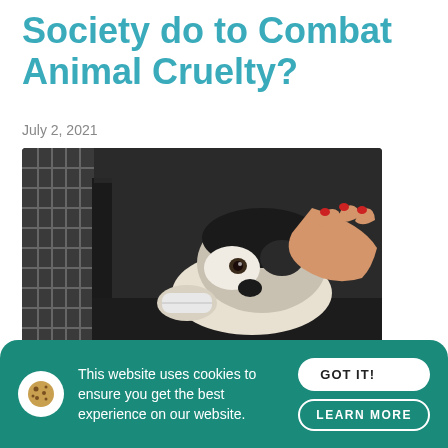Society do to Combat Animal Cruelty?
July 2, 2021
[Figure (photo): A dog lying inside a crate with a person's hand petting its head, with red-painted fingernails visible.]
On average in the UK, it is estimated that 12 million households have pets, with around 51 million pets owned. In 2019, the number of calls in England and Wales to an animal cruelty helpline totalled 1,218,264. Animal cruelty
This website uses cookies to ensure you get the best experience on our website.
GOT IT!
LEARN MORE